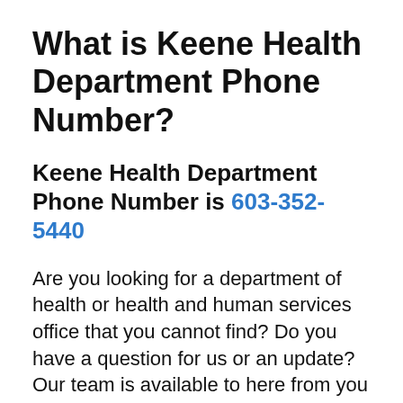What is Keene Health Department Phone Number?
Keene Health Department Phone Number is 603-352-5440
Are you looking for a department of health or health and human services office that you cannot find? Do you have a question for us or an update? Our team is available to here from you and get your request. Please fill-